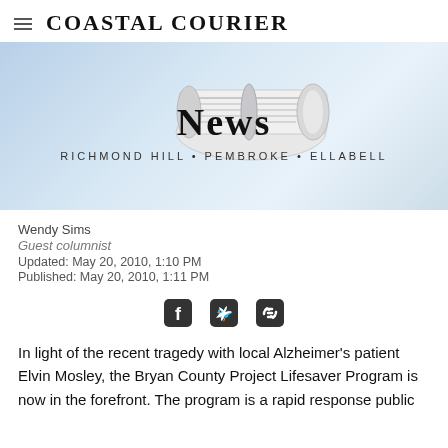Coastal Courier
[Figure (illustration): Coastal Courier News banner with rolled newspaper graphic and subtitle: RICHMOND HILL • PEMBROKE • ELLABELL]
Wendy Sims
Guest columnist
Updated: May 20, 2010, 1:10 PM
Published: May 20, 2010, 1:11 PM
[Figure (infographic): Social share icons: Facebook, Twitter, link]
In light of the recent tragedy with local Alzheimer's patient Elvin Mosley, the Bryan County Project Lifesaver Program is now in the forefront. The program is a rapid response public